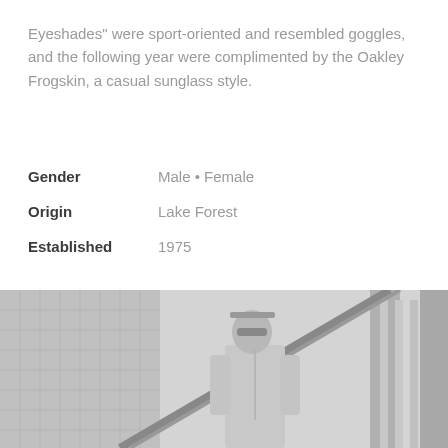Eyeshades" were sport-oriented and resembled goggles, and the following year were complimented by the Oakley Frogskin, a casual sunglass style.
| Gender | Male • Female |
| Origin | Lake Forest |
| Established | 1975 |
[Figure (photo): Black and white photo of a man wearing sunglasses and a zip-up jacket, standing in front of large architectural steel arch structures, likely a bridge.]